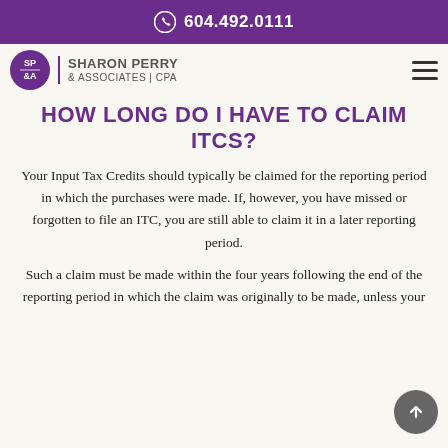604.492.0111
[Figure (logo): Sharon Perry & Associates CPA logo with purple circle SP&A and company name]
HOW LONG DO I HAVE TO CLAIM ITCS?
Your Input Tax Credits should typically be claimed for the reporting period in which the purchases were made. If, however, you have missed or forgotten to file an ITC, you are still able to claim it in a later reporting period.
Such a claim must be made within the four years following the end of the reporting period in which the claim was originally to be made, unless your